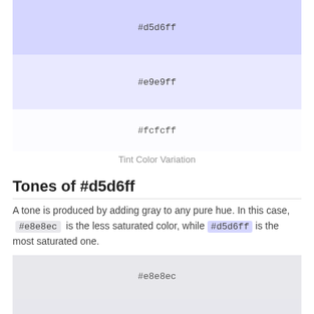[Figure (other): Color swatch showing #d5d6ff (periwinkle/lavender blue)]
[Figure (other): Color swatch showing #e9e9ff (light lavender)]
[Figure (other): Color swatch showing #fcfcff (near white with slight blue tint)]
Tint Color Variation
Tones of #d5d6ff
A tone is produced by adding gray to any pure hue. In this case, #e8e8ec is the less saturated color, while #d5d6ff is the most saturated one.
[Figure (other): Color swatch showing #e8e8ec (light gray with slight blue)]
[Figure (other): Color swatch showing #e7e7ed (slightly darker gray with blue)]